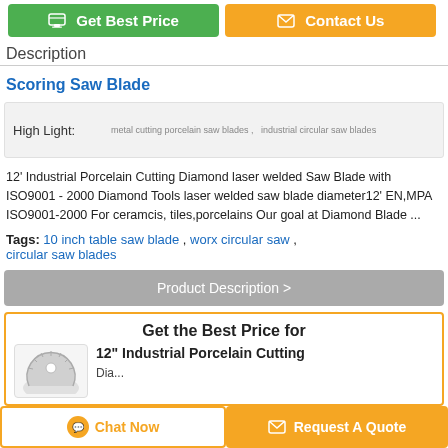[Figure (infographic): Two buttons: 'Get Best Price' (green) and 'Contact Us' (orange)]
Description
Scoring Saw Blade
High Light: metal cutting porcelain saw blades ,  industrial circular saw blades
12' Industrial Porcelain Cutting Diamond laser welded Saw Blade with ISO9001 - 2000 Diamond Tools laser welded saw blade diameter12' EN,MPA ISO9001-2000 For ceramcis, tiles,porcelains Our goal at Diamond Blade ...
Tags: 10 inch table saw blade , worx circular saw , circular saw blades
Product Description >
Get the Best Price for
12" Industrial Porcelain Cutting Diamond laser welded Saw Blade
[Figure (photo): Circular diamond saw blade image thumbnail]
Chat Now
Request A Quote